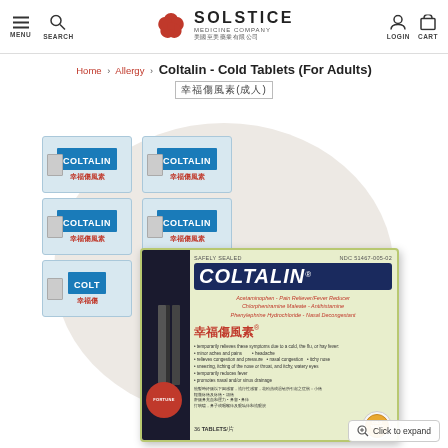MENU | SEARCH | SOLSTICE MEDICINE COMPANY | LOGIN | CART
Home > Allergy > Coltalin - Cold Tablets (For Adults) 幸福傷風素(成人)
[Figure (photo): Product photo of Coltalin Cold Tablets showing blister packs and product box. The box reads: SAFELY SEALED, NDC 51467-005-02, COLTALIN, Acetaminophen - Pain Reliever/Fever Reducer, Chlorpheniramine Maleate - Antihistamine, Phenylephrine Hydrochloride - Nasal Decongestant, 幸福傷風素, ASPIRIN FREE, 36 TABLETS. Blister packs show COLTALIN 幸福傷風素 branding.]
Click to expand